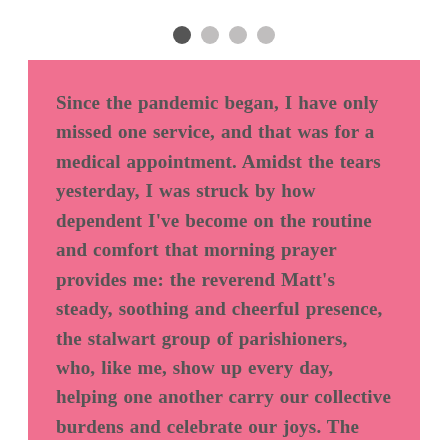[Figure (other): Four circular pagination dots: first dot is dark grey (active), remaining three are light grey (inactive)]
Since the pandemic began, I have only missed one service, and that was for a medical appointment. Amidst the tears yesterday, I was struck by how dependent I've become on the routine and comfort that morning prayer provides me: the reverend Matt's steady, soothing and cheerful presence, the stalwart group of parishioners, who, like me, show up every day, helping one another carry our collective burdens and celebrate our joys. The predictability of the liturgy.